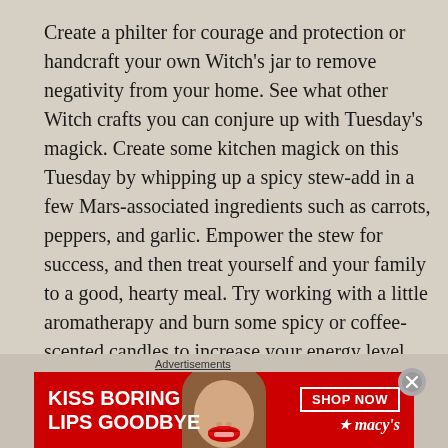Create a philter for courage and protection or handcraft your own Witch's jar to remove negativity from your home. See what other Witch crafts you can conjure up with Tuesday's magick. Create some kitchen magick on this Tuesday by whipping up a spicy stew-add in a few Mars-associated ingredients such as carrots, peppers, and garlic. Empower the stew for success, and then treat yourself and your family to a good, hearty meal. Try working with a little aromatherapy and burn some spicy or coffee-scented candles to increase your energy level.
Check the sky at night, and see if you can find the reddish planet Mars up in the heavens. Not sure where to look? Check an astronomy magazine or search the Web for more information. Become a magickal warrior and move forward
[Figure (other): Advertisement banner: Macy's lipstick ad with red background, model with red lips in center, text 'KISS BORING LIPS GOODBYE' on left, 'SHOP NOW' button and Macy's star logo on right]